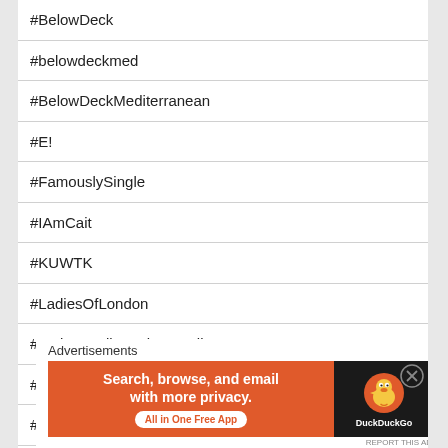#BelowDeck
#belowdeckmed
#BelowDeckMediterranean
#E!
#FamouslySingle
#IAmCait
#KUWTK
#LadiesOfLondon
#LedZeppelin Led Zeppelin
#Politics
#PumpRules
#Real Housewives
Advertisements
[Figure (screenshot): DuckDuckGo advertisement banner: orange background with text 'Search, browse, and email with more privacy. All in One Free App' and DuckDuckGo logo on dark right panel]